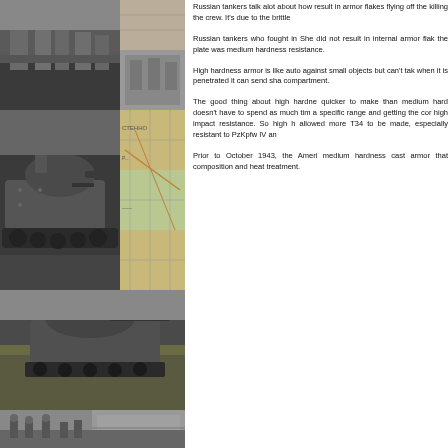[Figure (photo): Left column collage of WWII era black-and-white photographs showing soldiers and tanks, plus a colorful map segment]
Russian tankers talk alot about how result in armor flakes flying off the killing the crew. It's due to the brittle
Russian tankers who fought in She did not result in internal armor flak the plate was medium hardness resistance.
High hardness armor is like auto against small objects but can't tak when it is penetrated it can send sha compartment.
The good thing about high hardne quicker to make than medium hard doesn't have to spend as much tim a specific range and getting the cor high impact resistance. So high h allowed more T34 to be made, especially resistant to PzKpfw IV an
Prior to October 1943, the Ameri medium hardness cast armor that composition and heat treatment.